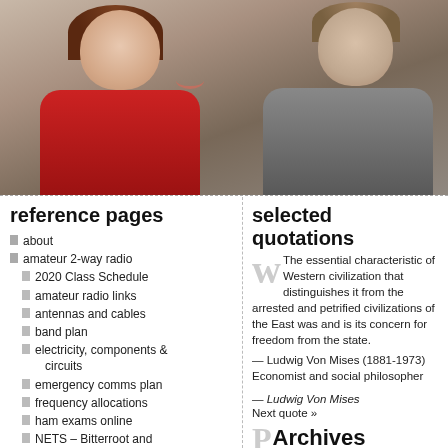[Figure (photo): Photo of two people smiling — a woman on the left with brown hair wearing a red jacket, and a man on the right wearing a gray suit with red tie.]
reference pages
about
amateur 2-way radio
2020 Class Schedule
amateur radio links
antennas and cables
band plan
electricity, components & circuits
emergency comms plan
frequency allocations
ham exams online
NETS – Bitterroot and beyond
NVIS antennas
phonetic alphabet
RADIOGRAM
wave behavior
Bitterroot Blues Band
selected quotations
The essential characteristic of Western civilization that distinguishes it from the arrested and petrified civilizations of the East was and is its concern for freedom from the state.
— Ludwig Von Mises (1881-1973) Economist and social philosopher
— Ludwig Von Mises
Next quote »
Archives
August 2022
July 2022